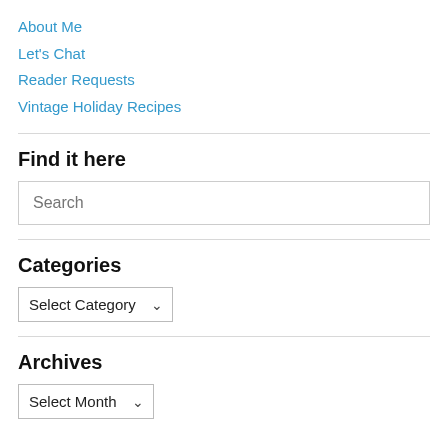About Me
Let's Chat
Reader Requests
Vintage Holiday Recipes
Find it here
Search
Categories
Select Category
Archives
Select Month